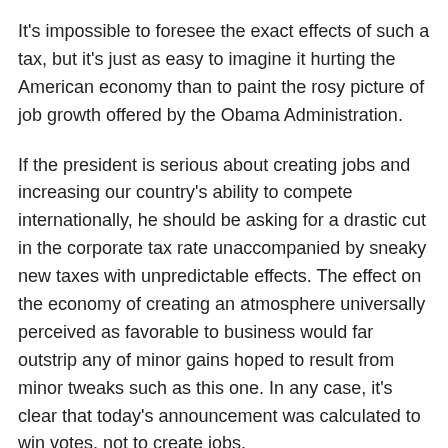It's impossible to foresee the exact effects of such a tax, but it's just as easy to imagine it hurting the American economy than to paint the rosy picture of job growth offered by the Obama Administration.
If the president is serious about creating jobs and increasing our country's ability to compete internationally, he should be asking for a drastic cut in the corporate tax rate unaccompanied by sneaky new taxes with unpredictable effects. The effect on the economy of creating an atmosphere universally perceived as favorable to business would far outstrip any of minor gains hoped to result from minor tweaks such as this one. In any case, it's clear that today's announcement was calculated to win votes, not to create jobs.